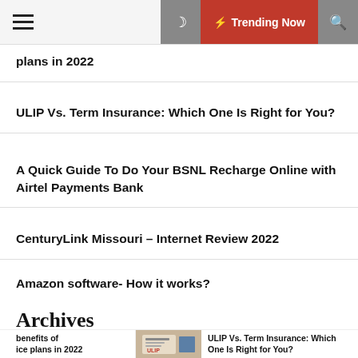Trending Now
plans in 2022
ULIP Vs. Term Insurance: Which One Is Right for You?
A Quick Guide To Do Your BSNL Recharge Online with Airtel Payments Bank
CenturyLink Missouri – Internet Review 2022
Amazon software- How it works?
Archives
benefits of ice plans in 2022
[Figure (photo): ULIP insurance document photo]
ULIP Vs. Term Insurance: Which One Is Right for You?